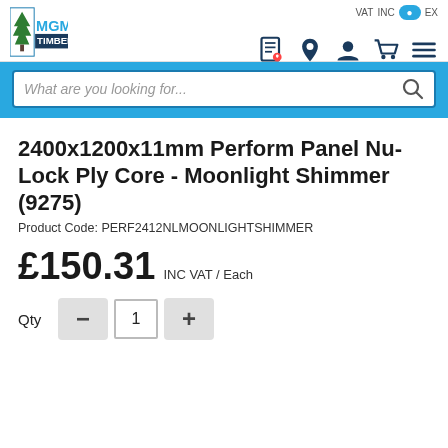[Figure (logo): MGM Timber logo with tree icon and MGM TIMBER text]
2400x1200x11mm Perform Panel Nu-Lock Ply Core - Moonlight Shimmer (9275)
Product Code: PERF2412NLMOONLIGHTSHIMMER
£150.31 INC VAT / Each
Qty  —  1  +